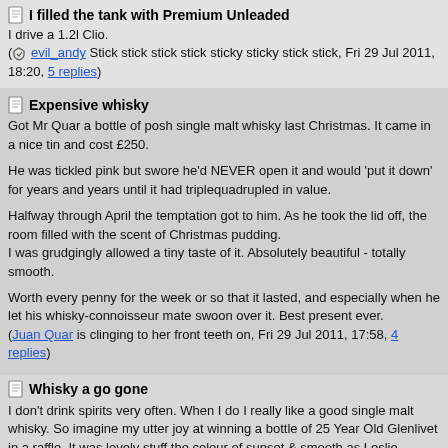I filled the tank with Premium Unleaded
I drive a 1.2l Clio.
(evil_andy Stick stick stick stick sticky sticky stick stick, Fri 29 Jul 2011, 18:20, 5 replies)
Expensive whisky
Got Mr Quar a bottle of posh single malt whisky last Christmas. It came in a nice tin and cost £250.

He was tickled pink but swore he'd NEVER open it and would 'put it down' for years and years until it had triplequadrupled in value.

Halfway through April the temptation got to him. As he took the lid off, the room filled with the scent of Christmas pudding.
I was grudgingly allowed a tiny taste of it. Absolutely beautiful - totally smooth.

Worth every penny for the week or so that it lasted, and especially when he let his whisky-connoisseur mate swoon over it. Best present ever.
(Juan Quar is clinging to her front teeth on, Fri 29 Jul 2011, 17:58, 4 replies)
Whisky a go gone
I don't drink spirits very often. When I do I really like a good single malt whisky. So imagine my utter joy at winning a bottle of 25 Year Old Glenlivet in a raffle. It was lovely stuff the colour of sunset & smooth as Leslie Philips. I savoured every mouthful of the couple of glasses I had the night I won it.

But as I said I don't really drink spirits that often so it remained in the drinks cabinet